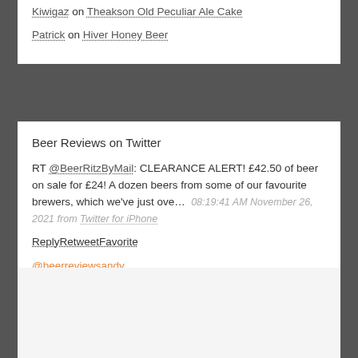Kiwigaz on Theakson Old Peculiar Ale Cake
Patrick on Hiver Honey Beer
Beer Reviews on Twitter
RT @BeerRitzByMail: CLEARANCE ALERT! £42.50 of beer on sale for £24! A dozen beers from some of our favourite brewers, which we've just ove… 08:19:41 AM November 26, 2021 from Twitter for iPhone ReplyRetweetFavorite
@beerreviewsandy